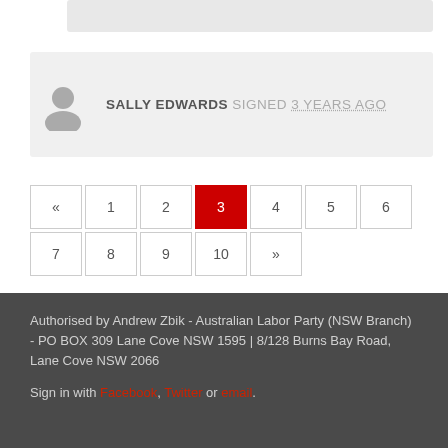SALLY EDWARDS signed 3 years ago
Pagination: « 1 2 3 4 5 6 7 8 9 10 »
Authorised by Andrew Zbik - Australian Labor Party (NSW Branch) - PO BOX 309 Lane Cove NSW 1595 | 8/128 Burns Bay Road, Lane Cove NSW 2066
Sign in with Facebook, Twitter or email.